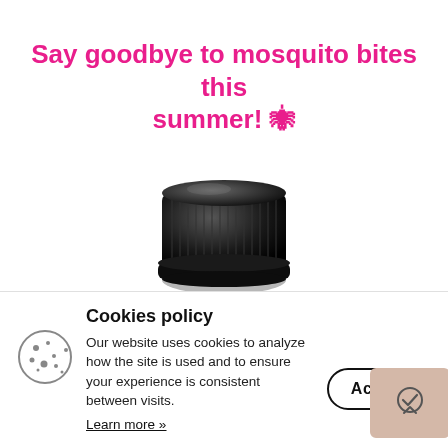Say goodbye to mosquito bites this summer! 🕷
[Figure (photo): A black ribbed screw cap / bottle cap product shown from a slightly elevated angle on a white background.]
Cookies policy
Our website uses cookies to analyze how the site is used and to ensure your experience is consistent between visits.
Learn more »